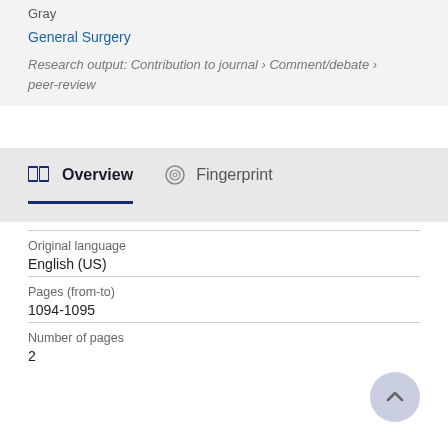Gray
General Surgery
Research output: Contribution to journal › Comment/debate › peer-review
Overview
Fingerprint
| Field | Value |
| --- | --- |
| Original language | English (US) |
| Pages (from-to) | 1094-1095 |
| Number of pages | 2 |